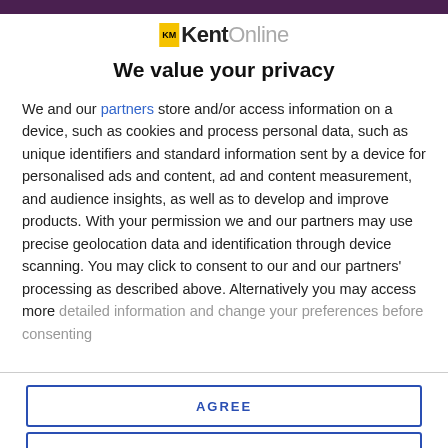[Figure (logo): KentOnline logo with yellow KM badge, bold 'Kent' in black and 'Online' in grey]
We value your privacy
We and our partners store and/or access information on a device, such as cookies and process personal data, such as unique identifiers and standard information sent by a device for personalised ads and content, ad and content measurement, and audience insights, as well as to develop and improve products. With your permission we and our partners may use precise geolocation data and identification through device scanning. You may click to consent to our and our partners' processing as described above. Alternatively you may access more detailed information and change your preferences before consenting
AGREE
MORE OPTIONS